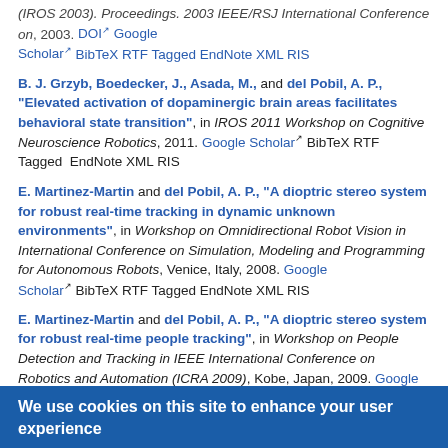(IROS 2003). Proceedings. 2003 IEEE/RSJ International Conference on, 2003. DOI Google Scholar BibTeX RTF Tagged EndNote XML RIS
B. J. Grzyb, Boedecker, J., Asada, M., and del Pobil, A. P., "Elevated activation of dopaminergic brain areas facilitates behavioral state transition", in IROS 2011 Workshop on Cognitive Neuroscience Robotics, 2011. Google Scholar BibTeX RTF Tagged EndNote XML RIS
E. Martinez-Martin and del Pobil, A. P., "A dioptric stereo system for robust real-time tracking in dynamic unknown environments", in Workshop on Omnidirectional Robot Vision in International Conference on Simulation, Modeling and Programming for Autonomous Robots, Venice, Italy, 2008. Google Scholar BibTeX RTF Tagged EndNote XML RIS
E. Martinez-Martin and del Pobil, A. P., "A dioptric stereo system for robust real-time people tracking", in Workshop on People Detection and Tracking in IEEE International Conference on Robotics and Automation (ICRA 2009), Kobe, Japan, 2009. Google Scholar
We use cookies on this site to enhance your user experience